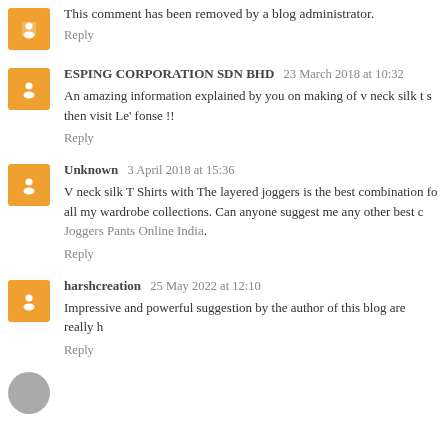This comment has been removed by a blog administrator.
Reply
ESPING CORPORATION SDN BHD 23 March 2018 at 10:32
An amazing information explained by you on making of v neck silk t s... then visit Le' fonse !!
Reply
Unknown 3 April 2018 at 15:36
V neck silk T Shirts with The layered joggers is the best combination fo... all my wardrobe collections. Can anyone suggest me any other best c... Joggers Pants Online India.
Reply
harshcreation 25 May 2022 at 12:10
Impressive and powerful suggestion by the author of this blog are really h...
Reply